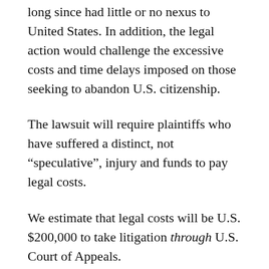long since had little or no nexus to United States. In addition, the legal action would challenge the excessive costs and time delays imposed on those seeking to abandon U.S. citizenship.
The lawsuit will require plaintiffs who have suffered a distinct, not “speculative”, injury and funds to pay legal costs.
We estimate that legal costs will be U.S. $200,000 to take litigation through U.S. Court of Appeals.
We cannot finalize agreement with any law firm until we have received the necessary funding. We already have a legal opinion from